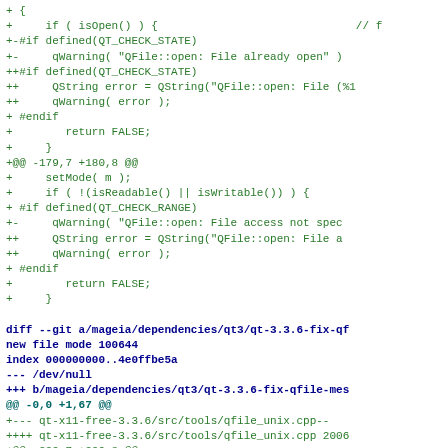Code diff showing changes to QFile open handling and a new git diff for qt-3.3.6-fix-qfile-messages patch